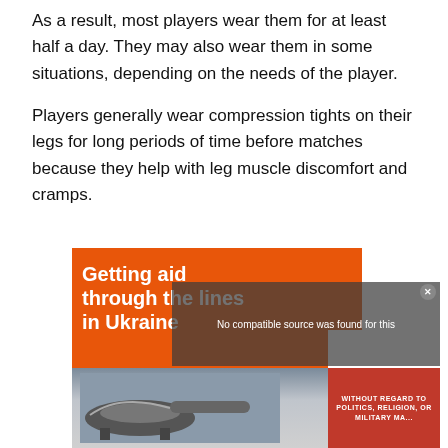As a result, most players wear them for at least half a day. They may also wear them in some situations, depending on the needs of the player.
Players generally wear compression tights on their legs for long periods of time before matches because they help with leg muscle discomfort and cramps.
[Figure (screenshot): Advertisement overlay showing 'Getting aid through the lines in Ukraine' on an orange background with a video player showing 'No compatible source was found for this' message, and a photograph of airplanes with a red banner reading 'WITHOUT REGARD TO POLICY, RELIGION, OR POLITICAL MA...']